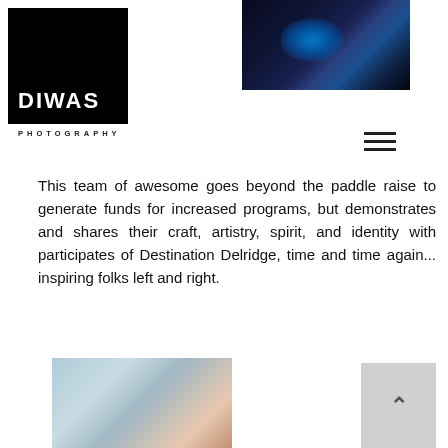[Figure (logo): DIWAS Photography logo — black square with white bold text DIWAS, with PHOTOGRAPHY in small spaced caps below]
[Figure (other): Hamburger menu icon — three horizontal black lines]
This team of awesome goes beyond the paddle raise to generate funds for increased programs, but demonstrates and shares their craft, artistry, spirit, and identity with participates of Destination Delridge, time and time again... inspiring folks left and right.
[Figure (photo): Partial photo showing light blue and tan tones, appears to be a close-up of artwork or painted surface]
[Figure (photo): Dark photo with blue lighting, appears to be a dimly lit scene with blue spotlight or glow]
[Figure (other): Gray scroll-to-top button with upward arrow chevron]